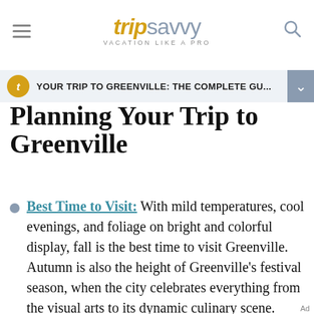tripsavvy VACATION LIKE A PRO
YOUR TRIP TO GREENVILLE: THE COMPLETE GU...
Planning Your Trip to Greenville
Best Time to Visit: With mild temperatures, cool evenings, and foliage on bright and colorful display, fall is the best time to visit Greenville. Autumn is also the height of Greenville's festival season, when the city celebrates everything from the visual arts to its dynamic culinary scene. Peak tourist season is in the summer, though, when daytime temperatures soar into